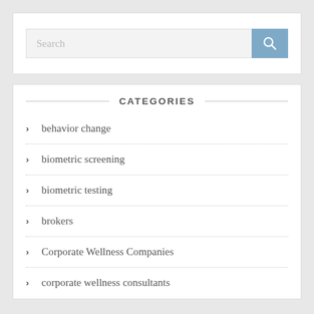[Figure (screenshot): Search bar with a text input field showing placeholder 'Search' and a blue button with a magnifying glass icon]
CATEGORIES
behavior change
biometric screening
biometric testing
brokers
Corporate Wellness Companies
corporate wellness consultants